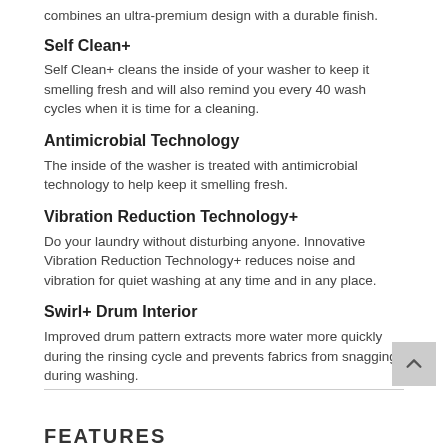combines an ultra-premium design with a durable finish.
Self Clean+
Self Clean+ cleans the inside of your washer to keep it smelling fresh and will also remind you every 40 wash cycles when it is time for a cleaning.
Antimicrobial Technology
The inside of the washer is treated with antimicrobial technology to help keep it smelling fresh.
Vibration Reduction Technology+
Do your laundry without disturbing anyone. Innovative Vibration Reduction Technology+ reduces noise and vibration for quiet washing at any time and in any place.
Swirl+ Drum Interior
Improved drum pattern extracts more water more quickly during the rinsing cycle and prevents fabrics from snagging during washing.
FEATURES